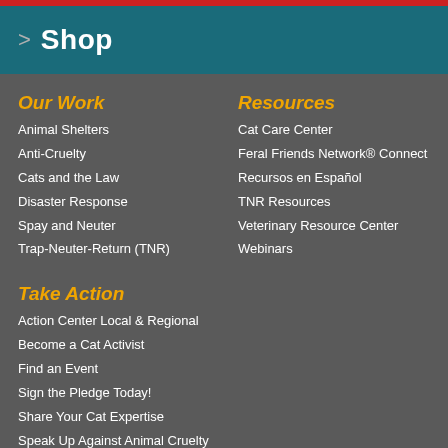Shop
Our Work
Animal Shelters
Anti-Cruelty
Cats and the Law
Disaster Response
Spay and Neuter
Trap-Neuter-Return (TNR)
Resources
Cat Care Center
Feral Friends Network® Connect
Recursos en Español
TNR Resources
Veterinary Resource Center
Webinars
Take Action
Action Center Local & Regional
Become a Cat Activist
Find an Event
Sign the Pledge Today!
Share Your Cat Expertise
Speak Up Against Animal Cruelty